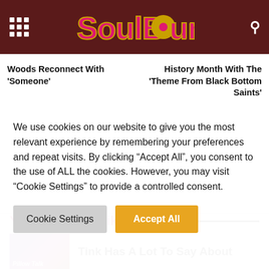SoulBounce
Woods Reconnect With 'Someone'
History Month With The 'Theme From Black Bottom Saints'
You May Also Like
Tink Has A Lot To Say About
We use cookies on our website to give you the most relevant experience by remembering your preferences and repeat visits. By clicking "Accept All", you consent to the use of ALL the cookies. However, you may visit "Cookie Settings" to provide a controlled consent.
Cookie Settings
Accept All